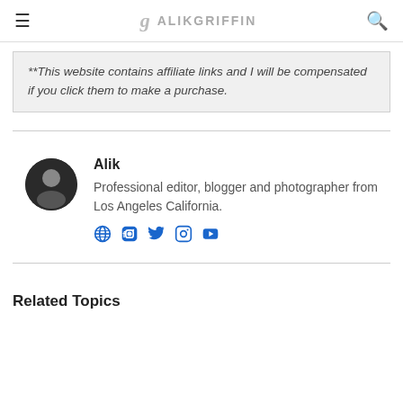≡  g  ALIKGRIFFIN  🔍
**This website contains affiliate links and I will be compensated if you click them to make a purchase.
Alik
Professional editor, blogger and photographer from Los Angeles California.
🌐 Facebook Twitter Instagram YouTube
Related Topics